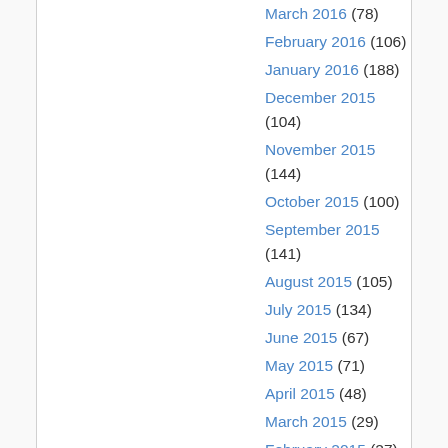March 2016 (78)
February 2016 (106)
January 2016 (188)
December 2015 (104)
November 2015 (144)
October 2015 (100)
September 2015 (141)
August 2015 (105)
July 2015 (134)
June 2015 (67)
May 2015 (71)
April 2015 (48)
March 2015 (29)
February 2015 (27)
January 2015 (25)
December 2014 (33)